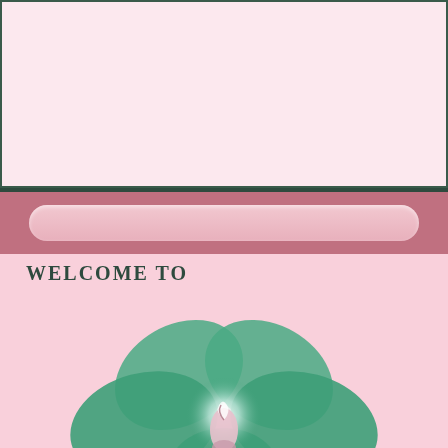[Figure (illustration): Pink banner/header area at the top of the page with light pink background and dark teal border]
[Figure (illustration): Navigation bar with rose/mauve background containing a rounded pill-shaped lighter pink element]
WELCOME TO
[Figure (logo): Springwolf's Creations logo featuring a teal/green orchid flower on pink background with small paw prints, and italic script text reading 'Springwolf's Creations©']
"Be Inspired To Dance YOUR Dance!"